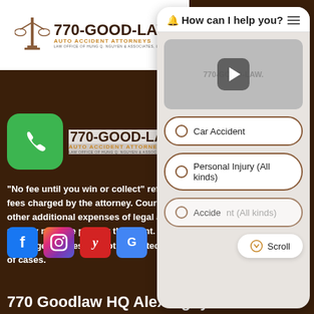[Figure (logo): 770-GOOD-LAW logo with scales of justice icon, Auto Accident Attorneys, Law Office of Hung Q. Nguyen & Associates LLC - white background top bar]
[Figure (screenshot): Chat widget overlay with header 'How can I help you?', video area with play button, option buttons: Car Accident, Personal Injury (All kinds), Accident (All kinds), and Scroll button]
[Figure (logo): 770-GOOD-LAW logo on dark brown background with green phone icon button on left]
“No fee until you win or collect” refers only to fees charged by the attorney. Court costs and other additional expenses of legal action usually must be paid by the client. Contingency fees are not permitted in all types of cases.
[Figure (infographic): Social media icons row: Facebook (blue), Instagram (gradient), Yelp (red), Google (blue)]
770 Goodlaw HQ Alex Nguyen Law